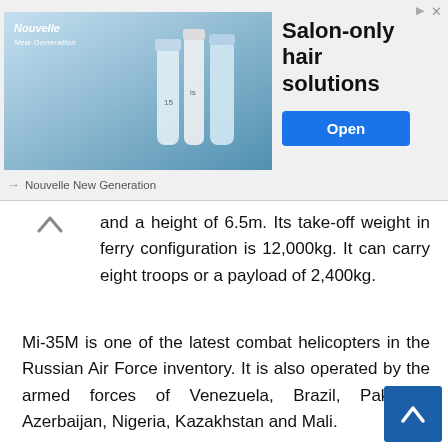[Figure (screenshot): Advertisement banner for Nouvelle New Generation salon hair solutions with product images, headline, and Open button]
and a height of 6.5m. Its take-off weight in ferry configuration is 12,000kg. It can carry eight troops or a payload of 2,400kg.
Mi-35M is one of the latest combat helicopters in the Russian Air Force inventory. It is also operated by the armed forces of Venezuela, Brazil, Pakistan, Azerbaijan, Nigeria, Kazakhstan and Mali.
© 2022, GDC. © GDC and www.globaldefensecorp.com. Unauthorized use and/or duplication of this material without express and written permission from this site's author and/or owner is strictly prohibited. Excerpts and links may be used, provided that full and clear credit is given to www.globaldefensecorp.com with appropriate and speci direction to the original content.